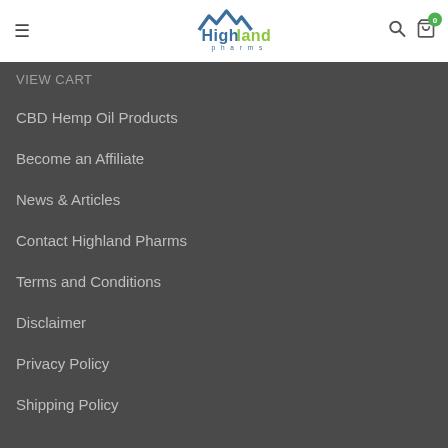[Figure (logo): Highland Pharms logo with mountain peaks and blue/green text]
VIEW CART
CBD Hemp Oil Products
Become an Affiliate
News & Articles
Contact Highland Pharms
Terms and Conditions
Disclaimer
Privacy Policy
Shipping Policy